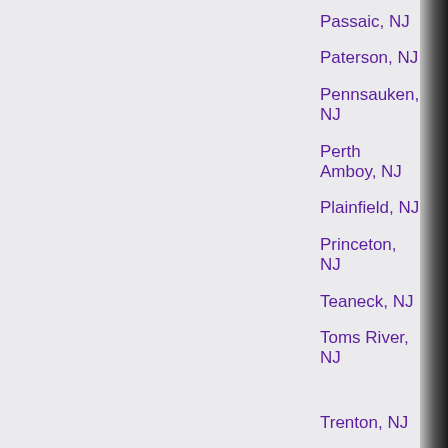Passaic, NJ
Paterson, NJ
Pennsauken, NJ
Perth Amboy, NJ
Plainfield, NJ
Princeton, NJ
Teaneck, NJ
Toms River, NJ
Trenton, NJ
Union, NJ
Union City, NJ
Vineland, NJ
Wayne, NJ
West New York, NJ